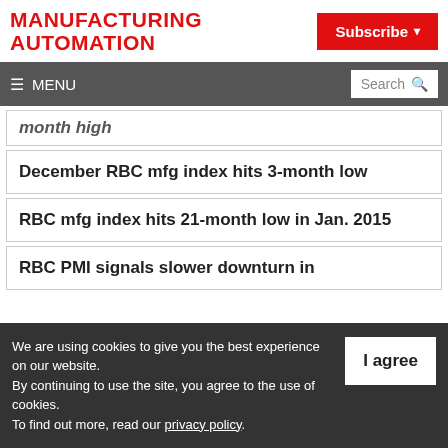MANUFACTURING AUTOMATION
Subscribe
≡ MENU  Search
month high
December RBC mfg index hits 3-month low
RBC mfg index hits 21-month low in Jan. 2015
RBC PMI signals slower downturn in
We are using cookies to give you the best experience on our website.
By continuing to use the site, you agree to the use of cookies.
To find out more, read our privacy policy.
I agree